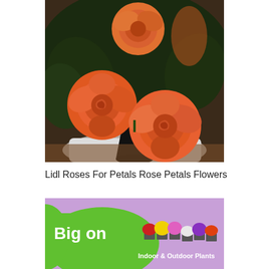[Figure (photo): Close-up photograph of three orange roses in a black vase with dark green leaves in the background]
Lidl Roses For Petals Rose Petals Flowers
[Figure (photo): Advertisement banner with green rounded shape on left reading 'Big on' in white text, colorful primrose flowers on a purple background, and text 'Indoor & Outdoor Plants']